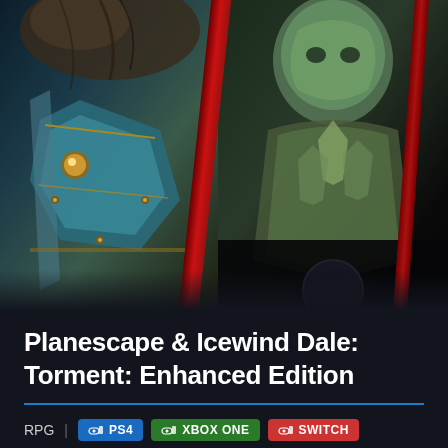[Figure (illustration): Game cover art for Planescape & Icewind Dale: Torment: Enhanced Edition showing fantasy characters in dark armor with red diagonal slash elements dividing the image]
Planescape & Icewind Dale: Torment: Enhanced Edition
RPG | PS4 XBOX ONE SWITCH